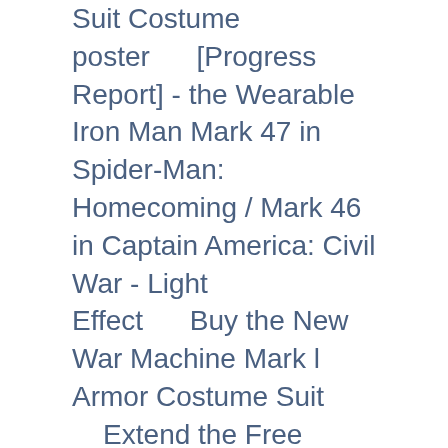Suit Costume poster      [Progress Report] - the Wearable Iron Man Mark 47 in Spider-Man: Homecoming / Mark 46 in Captain America: Civil War - Light Effect      Buy the New War Machine Mark l Armor Costume Suit      Extend the Free Shipping and Postpone the Start of the Pre-order of the New War Machine Armor to This Coming Monday      Happy Thanksgiving!      [Progress Report] - the Wearable Iron Man Mark 47 in Spider-Man: Homecoming / Mark 46 in Captain America: Civil War - top half sound effect      Universal Poseable Stand for All Kinds of Armor Costumes      [Giveaway] - Our Wearable Iron Man Mark 47 in Spider-Man: Homecoming / Mark 46 in Captain America: Civil War lottery just had first winner!      [Project Update] the wearable Falcon (exo-7) Armor Costume Suit      [Progress Report] the Wearable Iron Man...